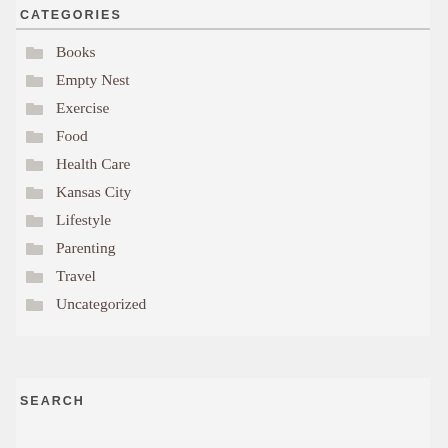CATEGORIES
Books
Empty Nest
Exercise
Food
Health Care
Kansas City
Lifestyle
Parenting
Travel
Uncategorized
SEARCH